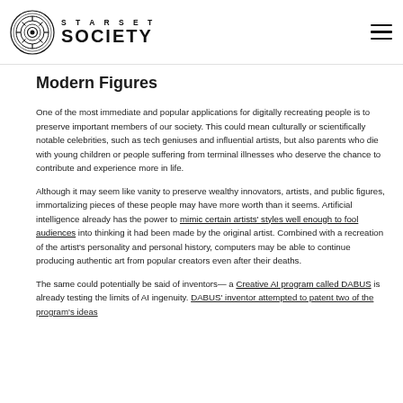STARSET SOCIETY
Modern Figures
One of the most immediate and popular applications for digitally recreating people is to preserve important members of our society. This could mean culturally or scientifically notable celebrities, such as tech geniuses and influential artists, but also parents who die with young children or people suffering from terminal illnesses who deserve the chance to contribute and experience more in life.
Although it may seem like vanity to preserve wealthy innovators, artists, and public figures, immortalizing pieces of these people may have more worth than it seems. Artificial intelligence already has the power to mimic certain artists' styles well enough to fool audiences into thinking it had been made by the original artist. Combined with a recreation of the artist's personality and personal history, computers may be able to continue producing authentic art from popular creators even after their deaths.
The same could potentially be said of inventors— a Creative AI program called DABUS is already testing the limits of AI ingenuity. DABUS' inventor attempted to patent two of the program's ideas with the AI listed as the inventor (the patents were denied but it led to...